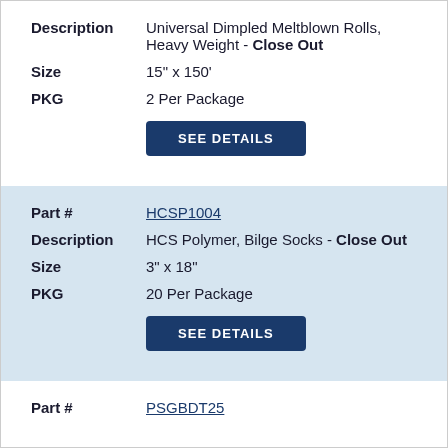| Description | Universal Dimpled Meltblown Rolls, Heavy Weight - Close Out |
| Size | 15" x 150' |
| PKG | 2 Per Package |
|  | SEE DETAILS |
| Part # | HCSP1004 |
| Description | HCS Polymer, Bilge Socks - Close Out |
| Size | 3" x 18" |
| PKG | 20 Per Package |
|  | SEE DETAILS |
| Part # | PSGBDT25 |